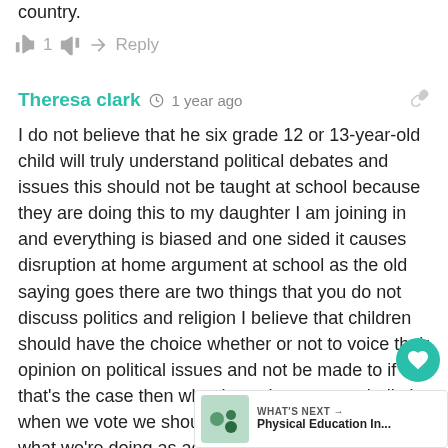country.
👍 1 👎 ➜ Reply
Theresa clark · 1 year ago
I do not believe that he six grade 12 or 13-year-old child will truly understand political debates and issues this should not be taught at school because they are doing this to my daughter I am joining in and everything is biased and one sided it causes disruption at home argument at school as the old saying goes there are two things that you do not discuss politics and religion I believe that children should have the choice whether or not to voice their opinion on political issues and not be made to if that's the case then why do we have secret ballot's when we vote we should be made to tell everyone what we're doing as adults we privilege Children should also be granted this privilege leave the politics out of school children